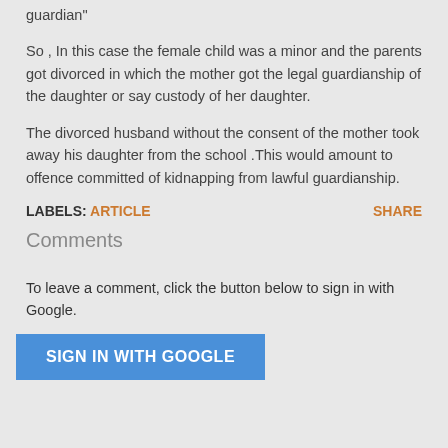guardian"
So , In this case the female child was a minor and the parents got divorced in which the mother got the legal guardianship of the daughter or say custody of her daughter.
The divorced husband without the consent of the mother took away his daughter from the school .This would amount to offence committed of kidnapping from lawful guardianship.
LABELS: ARTICLE    SHARE
Comments
To leave a comment, click the button below to sign in with Google.
SIGN IN WITH GOOGLE